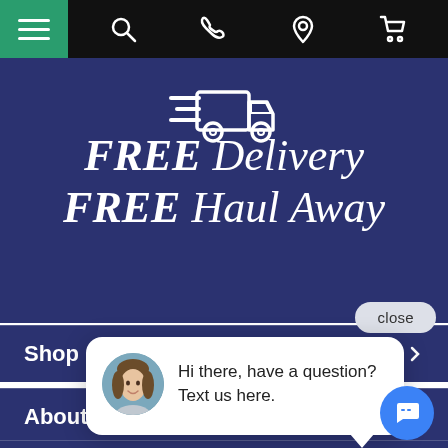[Figure (screenshot): Mobile website navigation bar with hamburger menu (green), search, phone, location, and cart icons on black background]
[Figure (illustration): White delivery truck icon with speed lines on dark navy background]
FREE Delivery FREE Haul Away
[Figure (screenshot): Chat popup with female avatar and text: Hi there, have a question? Text us here. Close button and chat bubble button visible.]
Shop
About
Contact Us